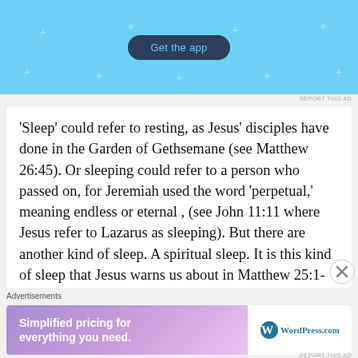[Figure (screenshot): Top app advertisement banner with light blue background and 'Get the app' dark button]
‘Sleep’ could refer to resting, as Jesus’ disciples have done in the Garden of Gethsemane (see Matthew 26:45). Or sleeping could refer to a person who passed on, for Jeremiah used the word ‘perpetual,’ meaning endless or eternal , (see John 11:11 where Jesus refer to Lazarus as sleeping). But there are another kind of sleep. A spiritual sleep. It is this kind of sleep that Jesus warns us about in Matthew 25:1-13, where Jesus
[Figure (screenshot): Bottom advertisement for WordPress.com: 'Simplified pricing for everything you need.' with WordPress.com logo on purple/pink gradient background]